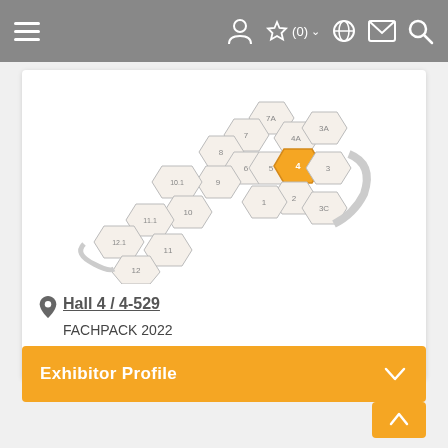Navigation bar with hamburger menu, user icon, favorites (0), globe, mail, and search icons
[Figure (map): Exhibition hall map showing numbered halls (1, 2, 3, 3A, 3C, 4, 4A, 5, 6, 7, 7A, 8, 9, 10, 10.1, 11, 11.1, 12, 12.1) as hexagonal/polygonal shapes. Hall 4 is highlighted in orange.]
Hall 4 / 4-529
FACHPACK 2022
Other exhibitors (1)
Exhibitor Profile